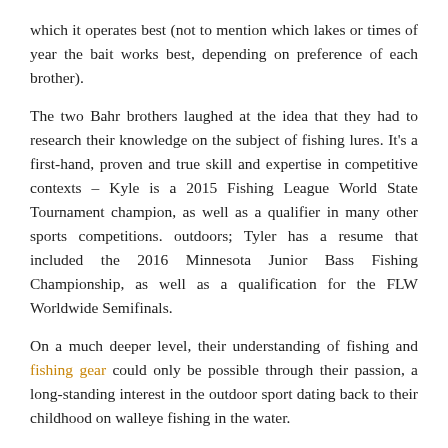which it operates best (not to mention which lakes or times of year the bait works best, depending on preference of each brother).
The two Bahr brothers laughed at the idea that they had to research their knowledge on the subject of fishing lures. It's a first-hand, proven and true skill and expertise in competitive contexts – Kyle is a 2015 Fishing League World State Tournament champion, as well as a qualifier in many other sports competitions. outdoors; Tyler has a resume that included the 2016 Minnesota Junior Bass Fishing Championship, as well as a qualification for the FLW Worldwide Semifinals.
On a much deeper level, their understanding of fishing and fishing gear could only be possible through their passion, a long-standing interest in the outdoor sport dating back to their childhood on walleye fishing in the water.
“It really started when-baby, my dad put me in the pontoon and we went for a boat ride,” said Kyle, who compared fishing to reading a thriller. “Since I’ve been able to hold a cane, it’s always been really exciting for me – just the mystery, will the next one be a 10-pounder? You